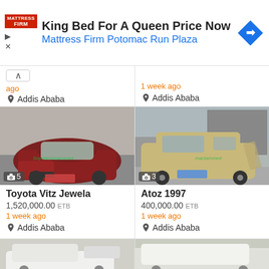[Figure (screenshot): Advertisement banner for Mattress Firm with text 'King Bed For A Queen Price Now' and 'Mattress Firm Potomac Run Plaza']
ago
1 week ago
Addis Ababa
Addis Ababa
[Figure (photo): Photo of a dark red Toyota Vitz Jewela car, 5 photos indicated]
[Figure (photo): Photo of a gold/beige Atoz 1997 car, 3 photos indicated]
Toyota Vitz Jewela
1,520,000.00 ETB
1 week ago
Addis Ababa
Atoz 1997
400,000.00 ETB
1 week ago
Addis Ababa
[Figure (photo): Partial bottom car listing image (white car)]
[Figure (photo): Partial bottom car listing image (white pickup)]